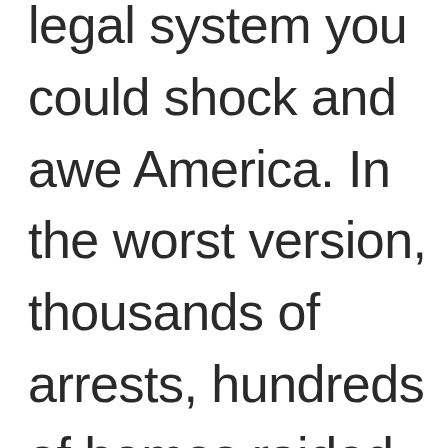legal system you could shock and awe America. In the worst version, thousands of arrests, hundreds of homes raided.